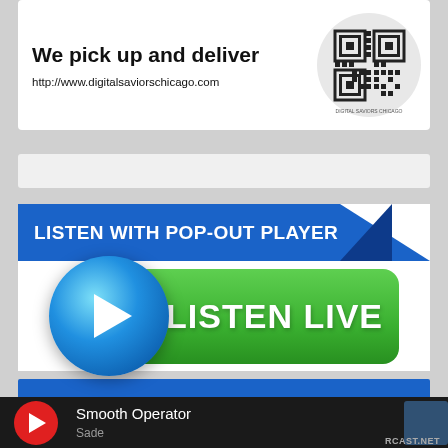[Figure (infographic): Advertisement banner: 'We pick up and deliver' with URL http://www.digitalsaviorschicago.com and a QR code]
[Figure (infographic): Blue header banner with text 'LISTEN WITH POP-OUT PLAYER' and diagonal cut design]
[Figure (infographic): Listen Live button: circular blue play button overlapping a green rounded rectangle with text 'LISTEN LIVE']
[Figure (infographic): Bottom media player bar (dark background) showing red play button, track title 'Smooth Operator', artist 'Sade', and RCAST.NET logo]